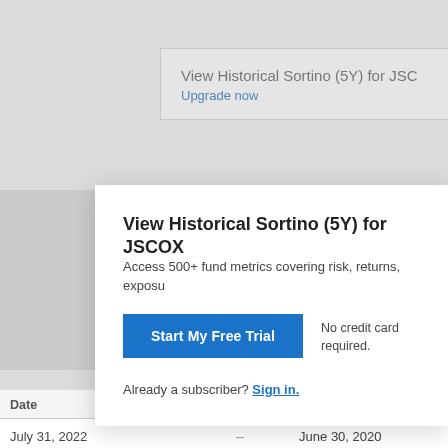[Figure (screenshot): Background page showing a financial data page for JSCOX with a partially visible card titled 'View Historical Sortino (5Y) for JSCOX' and an 'Upgrade now' link in blue.]
View Historical Sortino (5Y) for JSCOX
Access 500+ fund metrics covering risk, returns, exposu...
Start My Free Trial
No credit card required.
Already a subscriber? Sign in.
| Date | Value | Date |
| --- | --- | --- |
| July 31, 2022 | -- | June 30, 2020 |
| June 30, 2022 | -- | May 31, 2020 |